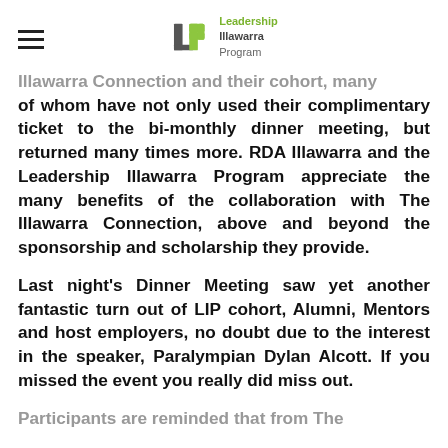Leadership Illawarra Program
Illawarra Connection and their cohort, many of whom have not only used their complimentary ticket to the bi-monthly dinner meeting, but returned many times more. RDA Illawarra and the Leadership Illawarra Program appreciate the many benefits of the collaboration with The Illawarra Connection, above and beyond the sponsorship and scholarship they provide.
Last night's Dinner Meeting saw yet another fantastic turn out of LIP cohort, Alumni, Mentors and host employers, no doubt due to the interest in the speaker, Paralympian Dylan Alcott. If you missed the event you really did miss out.
Participants are reminded that from The